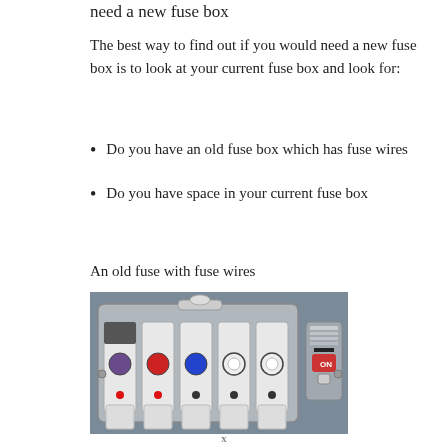need a new fuse box
The best way to find out if you would need a new fuse box is to look at your current fuse box and look for:
Do you have an old fuse box which has fuse wires
Do you have space in your current fuse box
An old fuse with fuse wires
[Figure (photo): Photograph of an old fuse box with five fuse carriers showing colored indicator dots (purple, red, blue, and two clear/white), small red dots below each, and an ON switch on the right side, mounted on a grey metal surface.]
x